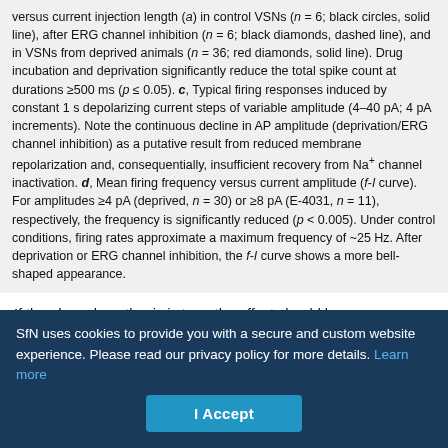versus current injection length (a) in control VSNs (n = 6; black circles, solid line), after ERG channel inhibition (n = 6; black diamonds, dashed line), and in VSNs from deprived animals (n = 36; red diamonds, solid line). Drug incubation and deprivation significantly reduce the total spike count at durations ≥500 ms (p ≤ 0.05). c, Typical firing responses induced by constant 1 s depolarizing current steps of variable amplitude (4–40 pA; 4 pA increments). Note the continuous decline in AP amplitude (deprivation/ERG channel inhibition) as a putative result from reduced membrane repolarization and, consequentially, insufficient recovery from Na+ channel inactivation. d, Mean firing frequency versus current amplitude (f-I curve). For amplitudes ≥4 pA (deprived, n = 30) or ≥8 pA (E-4031, n = 11), respectively, the frequency is significantly reduced (p < 0.005). Under control conditions, firing rates approximate a maximum frequency of ~25 Hz. After deprivation or ERG channel inhibition, the f-I curve shows a more bell-shaped appearance.
If the above hypothesis is true, the effect should become more pronounced with increased spike frequencies. Indeed, when the firing rate is analyzed as a function of current injection amplitude (f-
SfN uses cookies to provide you with a secure and custom website experience. Please read our privacy policy for more details. Learn more